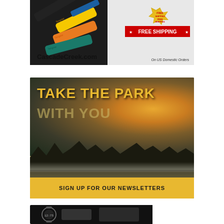[Figure (photo): Advertisement for CascadeCreek.com showing colorful USB flash drives/fitness bands in multiple colors (yellow, orange, teal, blue) against dark background with 'FREE SHIPPING' badge and 'On US Domestic Orders' text. Website URL CascadeCreek.com shown.]
[Figure (photo): Advertisement with misty lake/park sunrise landscape photo showing silhouetted treeline reflected in calm water, with golden sun rising. Text overlay reads 'TAKE THE PARK WITH YOU' in large yellow bold font. Bottom yellow bar reads 'SIGN UP FOR OUR NEWSLETTERS' in bold black text.]
[Figure (photo): Partially visible advertisement at the bottom of the page showing what appears to be a watch or timepiece against dark background. Only the top portion is visible.]